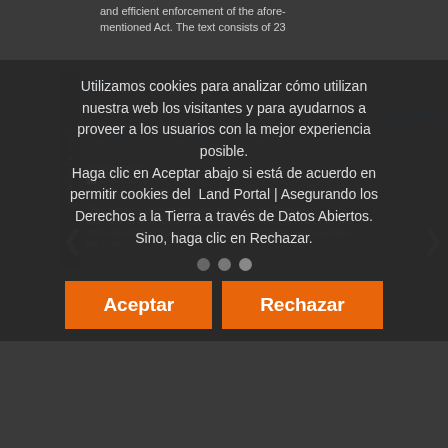and efficient enforcement of the afore-mentioned Act. The text consists of 23
Utilizamos cookies para analizar cómo utilizan nuestra web los visitantes y para ayudarnos a proveer a los usuarios con la mejor experiencia posible. Haga clic en Aceptar abajo si está de acuerdo en permitir cookies del Land Portal | Asegurando los Derechos a la Tierra a través de Datos Abiertos. Sino, haga clic en Rechazar.
Ordinance amending the Ordinance on due diligence.
Regulaciones
Enero, 2016
Liechtenstein
The Ordinance amends amendments to the Land Transaction amendments to the Land Transaction the Ordinance amends, inter alia, article 9a on foundations, institutions without members and foundation-like Trust
Aceptar
Rechazar
Administration Agency Establishment Council of Ministers Regulation No.
Regulaciones
Marzo, 2013